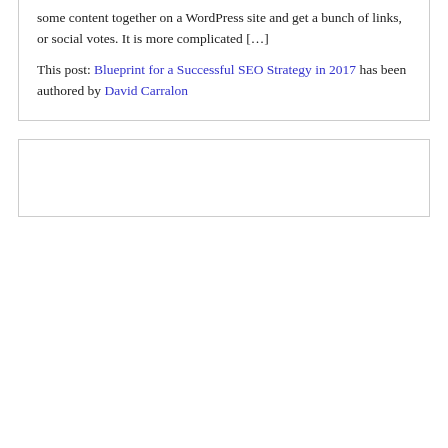some content together on a WordPress site and get a bunch of links, or social votes. It is more complicated […]
This post: Blueprint for a Successful SEO Strategy in 2017 has been authored by David Carralon